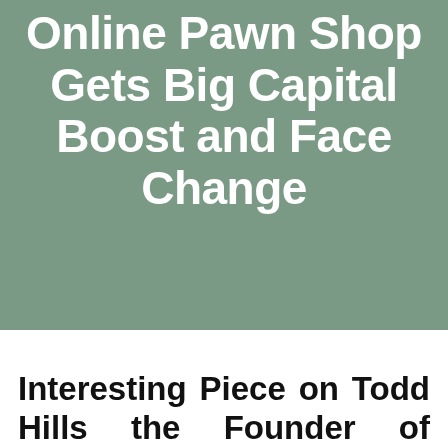[Figure (other): Green/sage background image with repeating floral/monogram pattern (circular ornamental symbols), covering the top portion of the page]
Online Pawn Shop Gets Big Capital Boost and Face Change
Interesting Piece on Todd Hills the Founder of